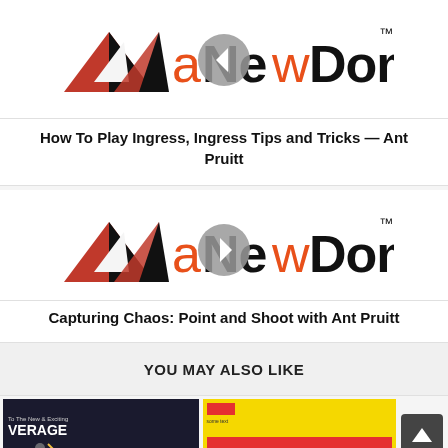[Figure (logo): aNewDomain logo with geometric triangular icon in red/black/white and text 'aNewDomain' with TM mark, overlaid with a left-arrow play/navigation button circle]
How To Play Ingress, Ingress Tips and Tricks — Ant Pruitt
[Figure (logo): aNewDomain logo with geometric triangular icon in red/black/white and text 'aNewDomain' with TM mark, overlaid with a right-arrow play/navigation button circle]
Capturing Chaos: Point and Shoot with Ant Pruitt
YOU MAY ALSO LIKE
[Figure (photo): Thumbnail image reading 'To The New & Exciting' with 'VERAGE' visible, featuring a bottle and lightning bolt graphics on dark background]
[Figure (photo): Thumbnail image with yellow background and red accent, partially visible text at top]